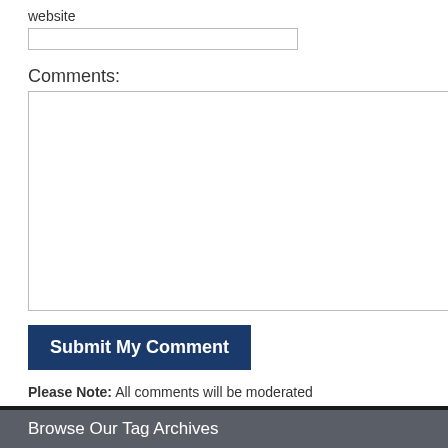website
Comments:
Submit My Comment
Please Note: All comments will be moderated
« Le Mans: Casey Stoner claims victory at action    Cal Crutchlow and
Browse Our Tag Archives